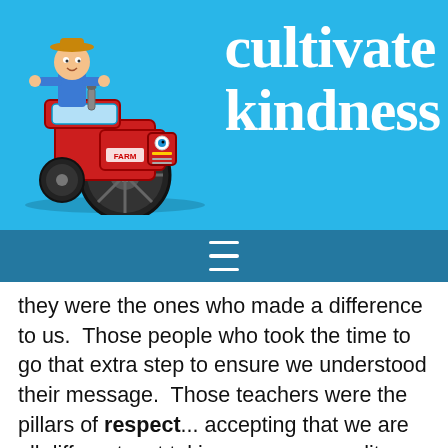[Figure (logo): Cultivate Kindness website header with cartoon farmer boy on red tractor and site title text in white on bright blue background]
≡
they were the ones who made a difference to us.  Those people who took the time to go that extra step to ensure we understood their message.  Those teachers were the pillars of respect... accepting that we are all different, yet taking our commonality, our humanity, our compassion and kindness and using it to make us feel special and unique.  When I think about it, at the very core of everything, life itself is the one thing we all universally share.  I am happy knowing my little boy and I made a difference in the